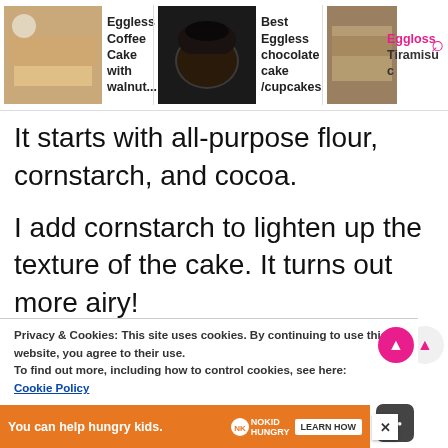[Figure (screenshot): Top ad banner showing three recipe cards: 'Eggless Coffee Cake with walnut...', 'Best Eggless chocolate cake /cupcakes', and a partially visible 'Eggless Tiramisu' with a search icon overlay]
It starts with all-purpose flour, cornstarch, and cocoa.
I add cornstarch to lighten up the texture of the cake. It turns out more airy!
A little bit of cocoa adds depth to this
Privacy & Cookies: This site uses cookies. By continuing to use this website, you agree to their use.
To find out more, including how to control cookies, see here: Cookie Policy
[Figure (screenshot): Bottom orange advertisement banner: 'You can help hungry kids.' with No Kid Hungry logo and LEARN HOW button, with X close button]